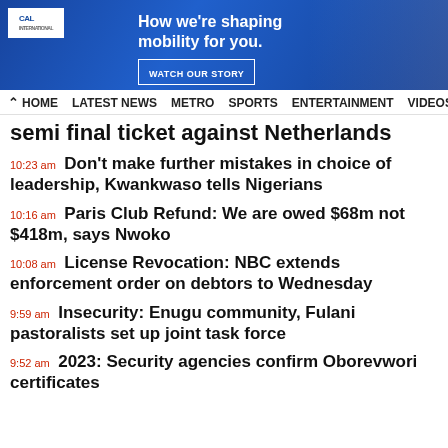[Figure (screenshot): Blue banner advertisement with text 'How we're shaping mobility for you.' and a 'WATCH OUR STORY' button, with a logo in top left]
HOME  LATEST NEWS  METRO  SPORTS  ENTERTAINMENT  VIDEOS
semi final ticket against Netherlands
10:23 am  Don't make further mistakes in choice of leadership, Kwankwaso tells Nigerians
10:16 am  Paris Club Refund: We are owed $68m not $418m, says Nwoko
10:08 am  License Revocation: NBC extends enforcement order on debtors to Wednesday
9:59 am  Insecurity: Enugu community, Fulani pastoralists set up joint task force
9:52 am  2023: Security agencies confirm Oborevwori certificates